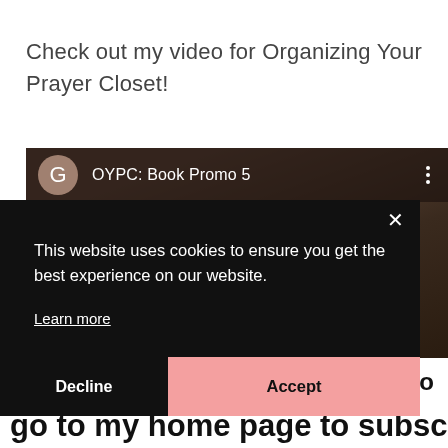Check out my video for Organizing Your Prayer Closet!
[Figure (screenshot): YouTube video thumbnail showing 'OYPC: Book Promo 5' with a G avatar circle and three-dot menu. Dark background with palm leaves visible.]
This website uses cookies to ensure you get the best experience on our website.
Learn more
Decline
Accept
to
go to my home page to subscribe to my